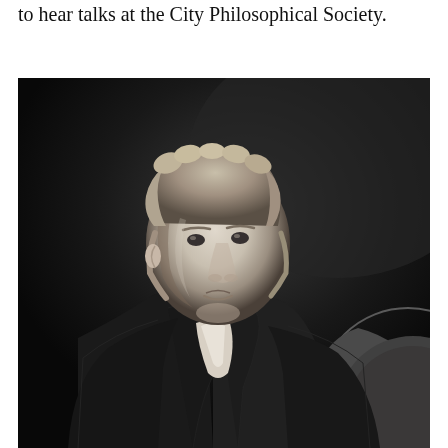to hear talks at the City Philosophical Society.
[Figure (photo): Black and white portrait photograph of a man (Michael Faraday) in 19th-century dress, wearing a dark coat and white cravat, with curly hair, posed three-quarter view against a dark background with a partial circular object visible at the lower right.]